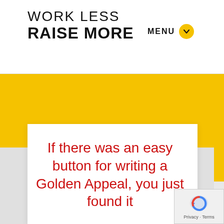WORK LESS RAISE MORE
MENU
[Figure (screenshot): Yellow background band filling the middle portion of the page]
If there was an easy button for writing a Golden Appeal, you just found it
[Figure (logo): reCAPTCHA badge with Privacy and Terms labels]